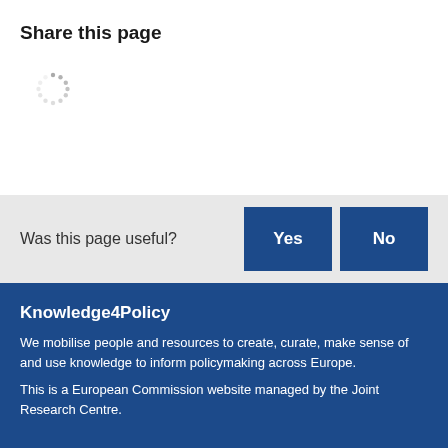Share this page
[Figure (other): Loading spinner icon (dotted circle indicating loading state)]
Was this page useful?
Yes
No
Knowledge4Policy
We mobilise people and resources to create, curate, make sense of and use knowledge to inform policymaking across Europe.
This is a European Commission website managed by the Joint Research Centre.
Get involved